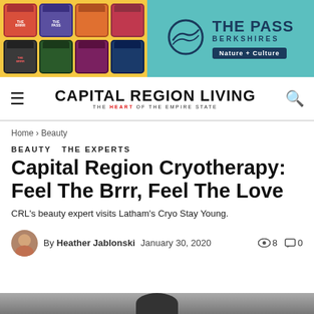[Figure (screenshot): Advertisement banner: left side shows colorful supplement jars on yellow background; right side shows 'The Pass Berkshires - Nature + Culture' on teal background with mountain logo]
CAPITAL REGION LIVING THE HEART OF THE EMPIRE STATE
Home › Beauty
BEAUTY  THE EXPERTS
Capital Region Cryotherapy: Feel The Brrr, Feel The Love
CRL's beauty expert visits Latham's Cryo Stay Young.
By Heather Jablonski   January 30, 2020   👁 8  💬 0
[Figure (photo): Partial bottom image showing dark silhouette or figure, beginning of article photo]